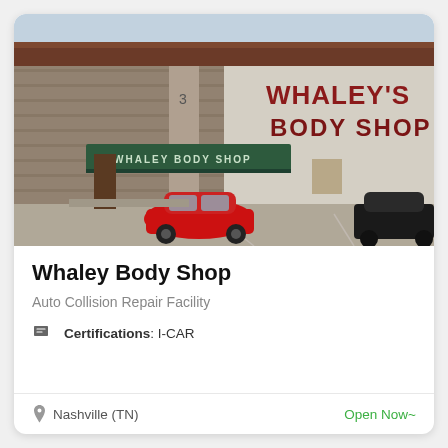[Figure (photo): Street view photo of Whaley Body Shop exterior. Brick building with a dark green awning reading 'WHALEY BODY SHOP' and red block letters 'WHALEY'S BODY SHOP' on the side wall. A red compact car is parked in the lot, and a dark sedan is visible on the right side.]
Whaley Body Shop
Auto Collision Repair Facility
Certifications: I-CAR
Nashville (TN)
Open Now~